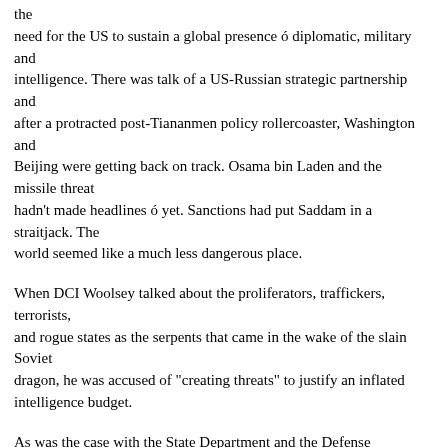the need for the US to sustain a global presence ó diplomatic, military and intelligence. There was talk of a US-Russian strategic partnership and after a protracted post-Tiananmen policy rollercoaster, Washington and Beijing were getting back on track. Osama bin Laden and the missile threat hadn't made headlines ó yet. Sanctions had put Saddam in a straitjack. The world seemed like a much less dangerous place.
When DCI Woolsey talked about the proliferators, traffickers, terrorists, and rogue states as the serpents that came in the wake of the slain Soviet dragon, he was accused of "creating threats" to justify an inflated intelligence budget.
As was the case with the State Department and the Defense Community, the Intelligence Community was downsized. By 1995, CIA's analytic ranks had shrunk by 17% from what they were in 1990. By the end of the 1990s...